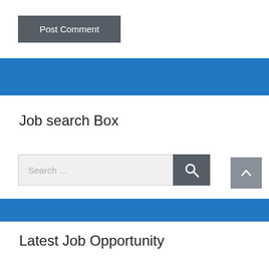[Figure (screenshot): Post Comment button — dark grey rectangle with white text]
[Figure (other): Blue horizontal bar divider]
Job search Box
[Figure (other): Search input field with placeholder 'Search ...' and dark grey search icon button]
[Figure (other): Blue horizontal bar divider (bottom)]
[Figure (other): Scroll-to-top button (grey, arrow up)]
Latest Job Opportunity